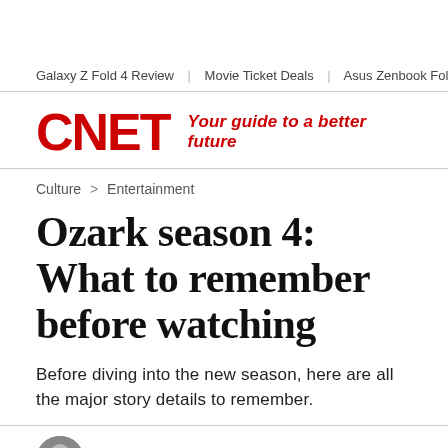Galaxy Z Fold 4 Review | Movie Ticket Deals | Asus Zenbook Fold OL
[Figure (logo): CNET logo in red with tagline 'Your guide to a better future']
Culture > Entertainment
Ozark season 4: What to remember before watching
Before diving into the new season, here are all the major story details to remember.
Daniel Van Boom   7 min read